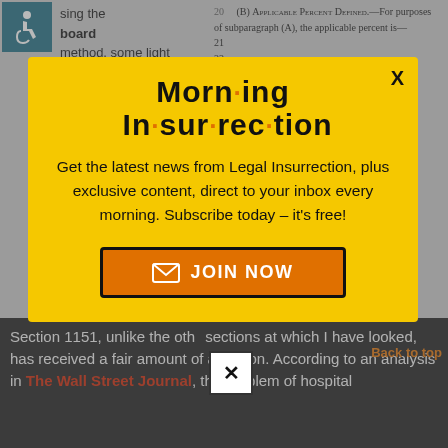sing the board method, some light will be shed on the
20 (B) APPLICABLE PERCENT DEFINED.—For purposes of subparagraph (A), the applicable percent is—
21
22
23 (i) for fiscal or rule year 2012 is
24 0.996;
[Figure (other): Yellow modal popup overlay for Morning Insurrection newsletter subscription with JOIN NOW button]
Section 1151, unlike the other sections at which I have looked, has received a fair amount of attention. According to an analysis in The Wall Street Journal, the problem of hospital